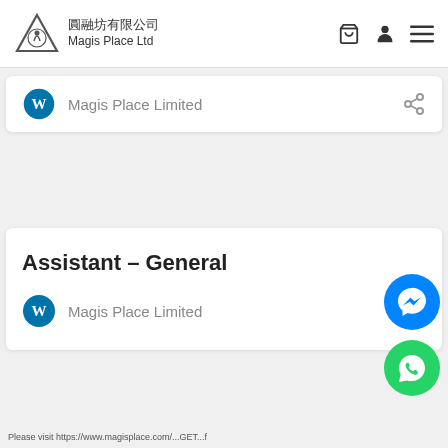[Figure (logo): Magis Place Ltd logo: triangle with Chinese and English text]
Magis Place Limited
Assistant – General
Magis Place Limited
Please visit https://www.magisplace.com/...GET...f